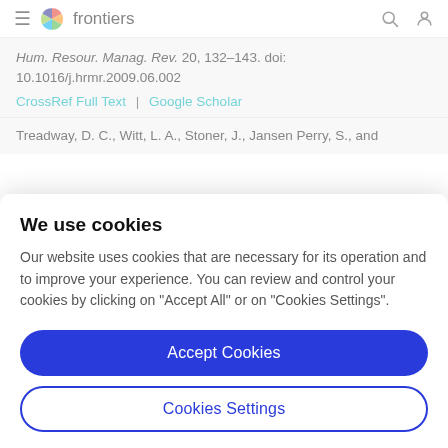frontiers
Hum. Resour. Manag. Rev. 20, 132–143. doi: 10.1016/j.hrmr.2009.06.002
CrossRef Full Text | Google Scholar
Treadway, D. C., Witt, L. A., Stoner, J., Jansen Perry, S., and
We use cookies
Our website uses cookies that are necessary for its operation and to improve your experience. You can review and control your cookies by clicking on "Accept All" or on "Cookies Settings".
Accept Cookies
Cookies Settings